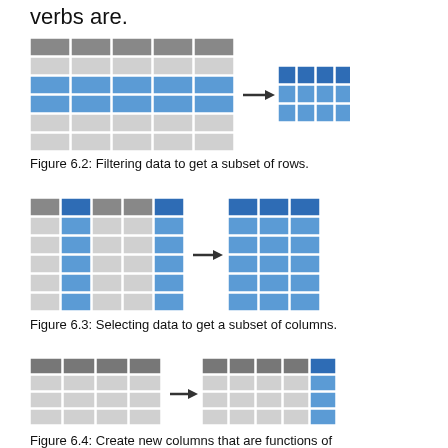verbs are.
[Figure (illustration): Diagram showing filtering data: a table with some rows highlighted in blue on the left, arrow pointing right, result table showing only the highlighted rows on the right.]
Figure 6.2: Filtering data to get a subset of rows.
[Figure (illustration): Diagram showing selecting data: a table with some columns highlighted in blue on the left, arrow pointing right, result table showing only the highlighted columns on the right.]
Figure 6.3: Selecting data to get a subset of columns.
[Figure (illustration): Diagram showing creating new columns: a table on the left, arrow pointing right, a wider table with an additional blue column on the right.]
Figure 6.4: Create new columns that are functions of existing columns using